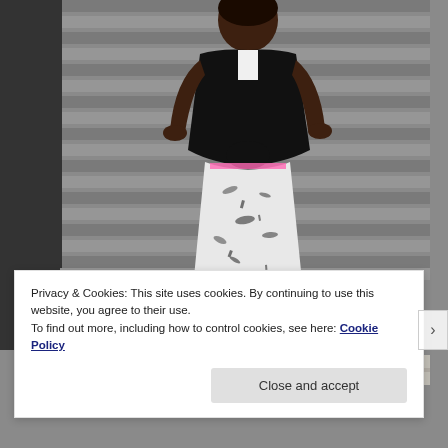[Figure (photo): A woman standing in front of a gray slatted wall/shutter background. She is wearing a black sleeveless tied top and white/gray marble-patterned skinny jeans with pink accents at the waistband, and dark sneakers. She has a gold necklace.]
Privacy & Cookies: This site uses cookies. By continuing to use this website, you agree to their use.
To find out more, including how to control cookies, see here: Cookie Policy
Close and accept